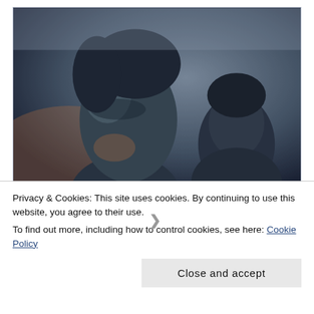[Figure (photo): A cinematic dark-toned photo of two people: a woman in the foreground with short hair looking to the side, and a man partially visible in the background, both in muted blue-gray lighting.]
Three Short Reviews of Recent
Privacy & Cookies: This site uses cookies. By continuing to use this website, you agree to their use.
To find out more, including how to control cookies, see here: Cookie Policy
Close and accept